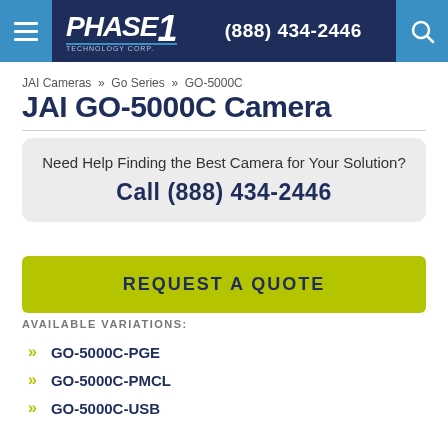PHASE 1 TECHNOLOGY CORP — (888) 434-2446
JAI Cameras » Go Series » GO-5000C
JAI GO-5000C Camera
Need Help Finding the Best Camera for Your Solution?
Call (888) 434-2446
REQUEST A QUOTE
AVAILABLE VARIATIONS:
GO-5000C-PGE
GO-5000C-PMCL
GO-5000C-USB